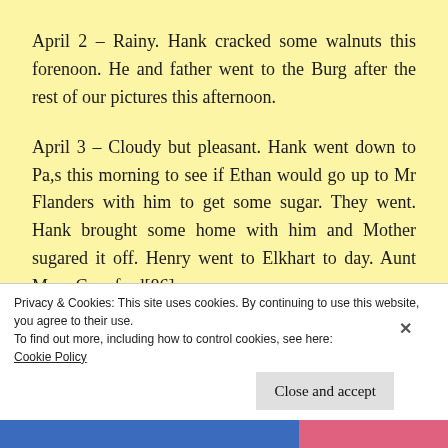April 2 – Rainy. Hank cracked some walnuts this forenoon. He and father went to the Burg after the rest of our pictures this afternoon.
April 3 – Cloudy but pleasant. Hank went down to Pa,s this morning to see if Ethan would go up to Mr Flanders with him to get some sugar. They went. Hank brought some home with him and Mother sugared it off. Henry went to Elkhart to day. Aunt Mary Crawford[86] came
Privacy & Cookies: This site uses cookies. By continuing to use this website, you agree to their use.
To find out more, including how to control cookies, see here:
Cookie Policy
Close and accept